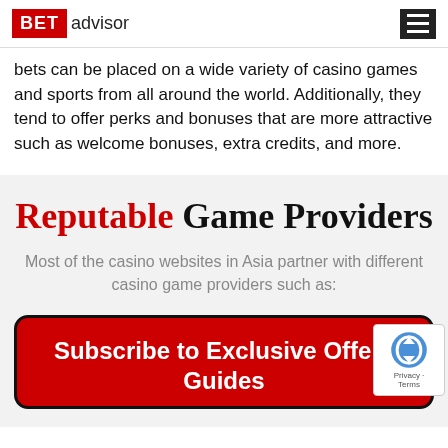BET advisor
bets can be placed on a wide variety of casino games and sports from all around the world. Additionally, they tend to offer perks and bonuses that are more attractive such as welcome bonuses, extra credits, and more.
Reputable Game Providers
Most of the casino websites in Asia partner with different casino game providers such as:
[Figure (other): Red card with dark border containing text 'Subscribe to Exclusive Offers Guides' in bold white text, with a reCAPTCHA badge in the corner.]